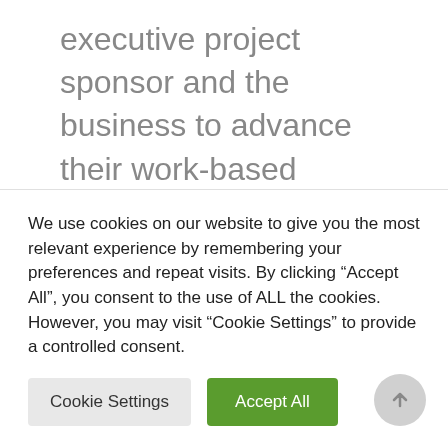executive project sponsor and the business to advance their work-based project and develop their project review presentations. From new technology or system integration initiatives, to customer experience and process realignment projects, each one had to show a
We use cookies on our website to give you the most relevant experience by remembering your preferences and repeat visits. By clicking “Accept All”, you consent to the use of ALL the cookies. However, you may visit “Cookie Settings” to provide a controlled consent.